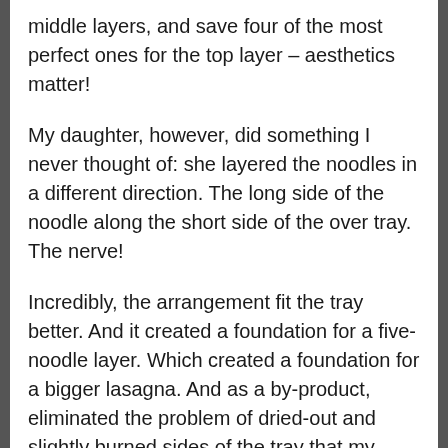middle layers, and save four of the most perfect ones for the top layer – aesthetics matter!
My daughter, however, did something I never thought of: she layered the noodles in a different direction. The long side of the noodle along the short side of the over tray. The nerve!
Incredibly, the arrangement fit the tray better. And it created a foundation for a five-noodle layer. Which created a foundation for a bigger lasagna. And as a by-product, eliminated the problem of dried-out and slightly burned sides of the tray that my previous layout didn't cover.